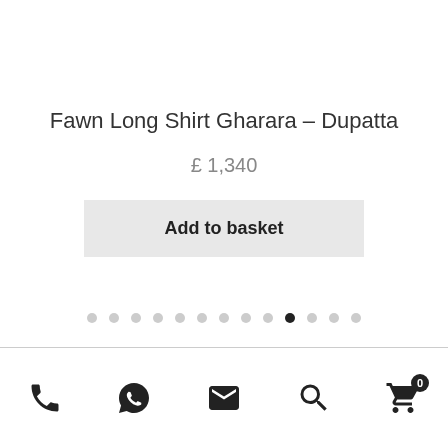Fawn Long Shirt Gharara – Dupatta
£ 1,340
Add to basket
[Figure (other): Carousel pagination dots, 12 total, 10th dot active (filled black), rest grey]
[Figure (other): Bottom navigation bar with phone, WhatsApp, mail, search, and basket (badge: 0) icons]